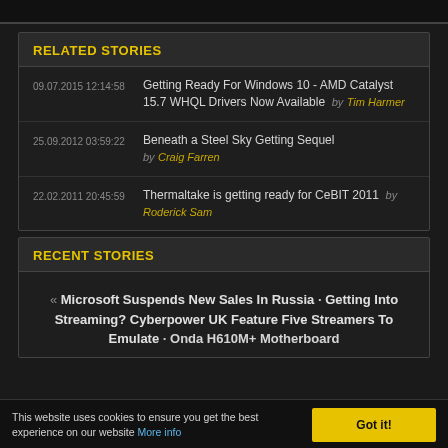RELATED STORIES
09.07.2015 12:14:58 Getting Ready For Windows 10 - AMD Catalyst 15.7 WHQL Drivers Now Available by Tim Harmer
25.09.2012 03:59:22 Beneath a Steel Sky Getting Sequel by Craig Farren
22.02.2011 20:45:59 Thermaltake is getting ready for CeBIT 2011 by Roderick Sam
RECENT STORIES
« Microsoft Suspends New Sales In Russia · Getting Into Streaming? Cyberpower UK Feature Five Streamers To Emulate · Onda H610M+ Motherboard
This website uses cookies to ensure you get the best experience on our website More info